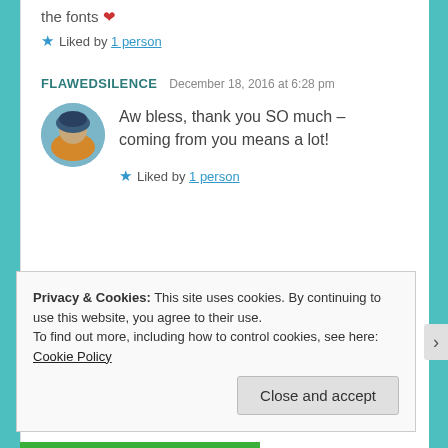the fonts ❤
★ Liked by 1 person
FLAWEDSILENCE   December 18, 2016 at 6:28 pm
Aw bless, thank you SO much – coming from you means a lot!
★ Liked by 1 person
Privacy & Cookies: This site uses cookies. By continuing to use this website, you agree to their use.
To find out more, including how to control cookies, see here: Cookie Policy
Close and accept